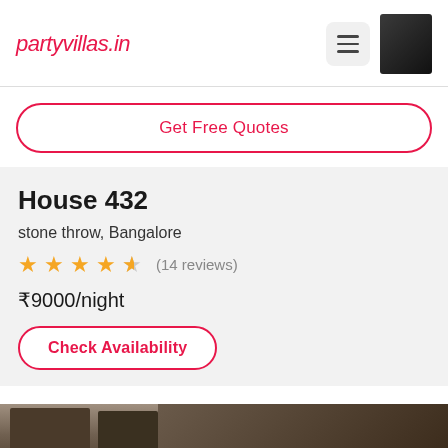partyvillas.in
Get Free Quotes
House 432
stone throw, Bangalore
★★★★½ (14 reviews)
₹9000/night
Check Availability
[Figure (photo): Interior photo of House 432 at the bottom of the page]